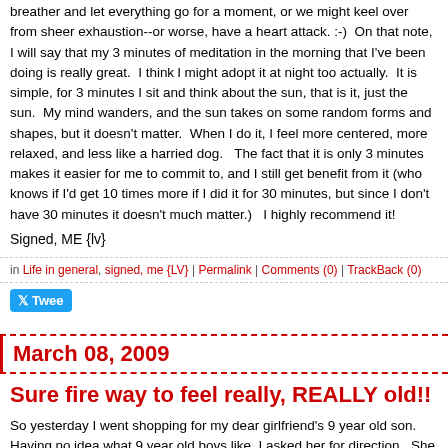breather and let everything go for a moment, or we might keel over from sheer exhaustion--or worse, have a heart attack. :-)  On that note, I will say that my 3 minutes of meditation in the morning that I've been doing is really great.  I think I might adopt it at night too actually.  It is simple, for 3 minutes I sit and think about the sun, that is it, just the sun.  My mind wanders, and the sun takes on some random forms and shapes, but it doesn't matter.  When I do it, I feel more centered, more relaxed, and less like a harried dog.   The fact that it is only 3 minutes makes it easier for me to commit to, and I still get benefit from it (who knows if I'd get 10 times more if I did it for 30 minutes, but since I don't have 30 minutes it doesn't much matter.)   I highly recommend it!
Signed, ME {lv}
in Life in general, signed, me {LV} | Permalink | Comments (0) | TrackBack (0)
Tweet
March 08, 2009
Sure fire way to feel really, REALLY old!!
So yesterday I went shopping for my dear girlfriend's 9 year old son.  Having no idea what 9 year old boys like, I asked her for direction.  She said, "he is really into Hollister clothing."  Now, I'd heard of Hollister, but never actually been to Hollister.  So Lucia and I put that on our list of errands and set off.  Have yo